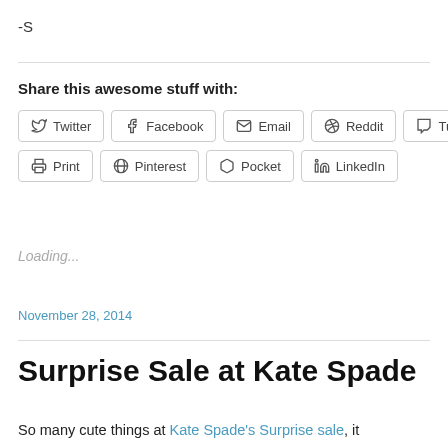-S
Share this awesome stuff with:
Twitter  Facebook  Email  Reddit  Tumblr  Print  Pinterest  Pocket  LinkedIn
Loading...
November 28, 2014
Surprise Sale at Kate Spade
So many cute things at Kate Spade's Surprise sale, it